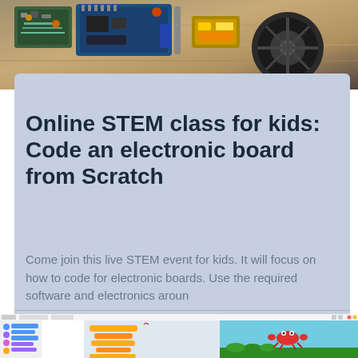[Figure (photo): Top photo showing electronic components, circuit boards, and robotic parts arranged on a wooden surface]
Online STEM class for kids: Code an electronic board from Scratch
Come join this live STEM event for kids. It will focus on how to code for electronic boards. Use the required software and electronics aroun
[Figure (screenshot): Screenshot of Scratch programming environment showing colorful coding blocks on the left panel, code workspace in the middle with orange/yellow blocks, and a game preview on the right with a red crab sprite on a green landscape with teal sky]